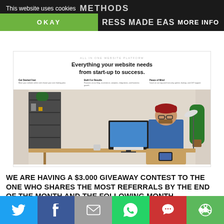This website uses cookies  METHODS
OKAY   PRESS MADE EASY   MORE INFO
[Figure (screenshot): Screenshot of a website homepage showing 'Everything your website needs from start-up to success.' with a man in a red hat sitting at a desk working on a computer.]
WE ARE HAVING A $3.000 GIVEAWAY CONTEST TO THE ONE WHO SHARES THE MOST REFERRALS BY THE END OF THE MONTH AND THE FOLLOWING MONTH AFTERWARDS
[Figure (infographic): Social share buttons bar: Twitter (blue), Facebook (dark blue), Email (grey), WhatsApp (green), SMS (red), More (green)]